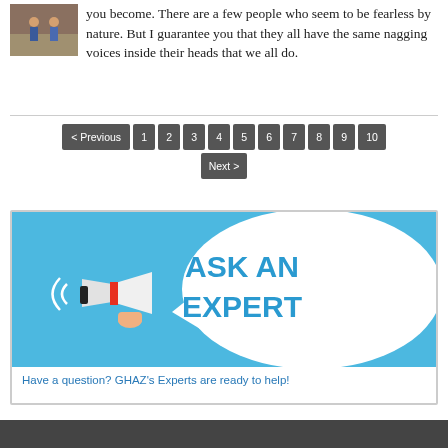you become. There are a few people who seem to be fearless by nature. But I guarantee you that they all have the same nagging voices inside their heads that we all do.
[Figure (other): Pagination navigation bar with buttons: < Previous, 1, 2, 3, 4, 5, 6, 7, 8, 9, 10, Next >]
[Figure (infographic): ASK AN EXPERT banner with megaphone illustration on blue background]
Have a question? GHAZ's Experts are ready to help!